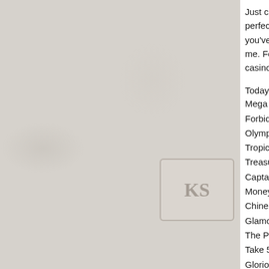[Figure (photo): Stone or brick wall background texture with a faint playing card (KS) visible in the center-right area of the image. The image is light grey/beige in tone.]
Just choose your fav perfect poker player you've realize that It's me. For Australian pl casino night set.
Today's Results:
Mega Stellar - 286.4
Forbidden Chamber
Olympia - 124.4 eth
Tropic Dancer - 112.
Treasures of Tombs
Captain's Treasure -
Money Monkey - 492
Chinese New Year -
Glamorous Times - 1
The Pyramid of Ram
Take 5 - 491.3 eth
Glorious Rome - 16 u
Booming Bananas -
Mamma Mia 2D - 84